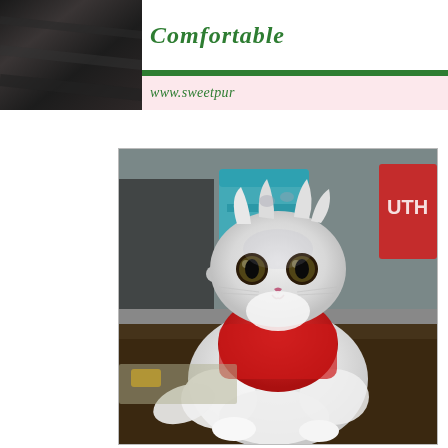[Figure (photo): Top-left header area showing a dark background photo (appears to be dark furniture or fabric), partially visible]
Comfortable  www.sweetpur...
[Figure (photo): A fluffy white Persian cat wearing a red t-shirt or sweater, sitting upright on a dark brown surface. The cat has large expressive dark eyes and very long white fur. A teal/turquoise chair is visible in the background along with a red item. The cat looks directly at the camera.]